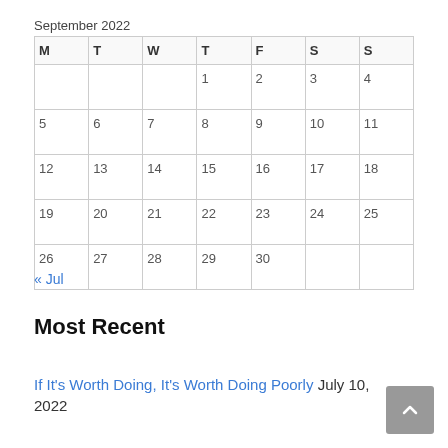September 2022
| M | T | W | T | F | S | S |
| --- | --- | --- | --- | --- | --- | --- |
|  |  |  | 1 | 2 | 3 | 4 |
| 5 | 6 | 7 | 8 | 9 | 10 | 11 |
| 12 | 13 | 14 | 15 | 16 | 17 | 18 |
| 19 | 20 | 21 | 22 | 23 | 24 | 25 |
| 26 | 27 | 28 | 29 | 30 |  |  |
« Jul
Most Recent
If It's Worth Doing, It's Worth Doing Poorly July 10, 2022